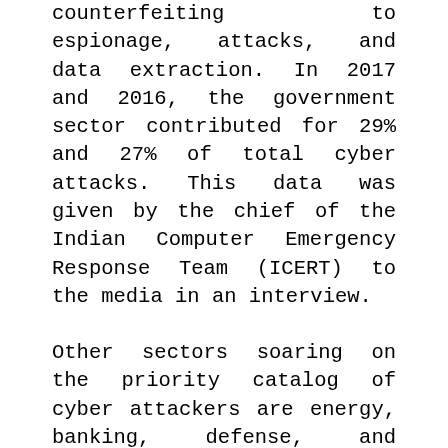counterfeiting to espionage, attacks, and data extraction. In 2017 and 2016, the government sector contributed for 29% and 27% of total cyber attacks. This data was given by the chief of the Indian Computer Emergency Response Team (ICERT) to the media in an interview.
Other sectors soaring on the priority catalog of cyber attackers are energy, banking, defense, and telecom that along with the government contribute for 75% of total cyber attacks. The appearance of new apps and services, cognitive and cloud technologies, has turned cyber security more confronting even as the worth of information and its applications in business increases day by day, turning cyber security a huge task.